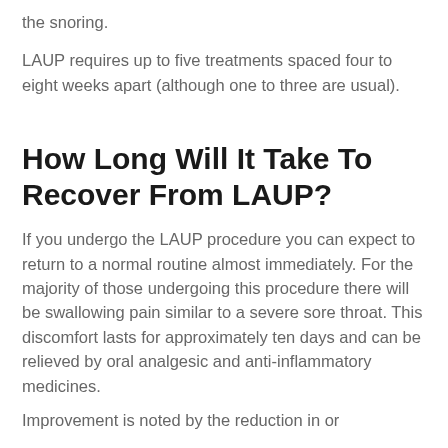the snoring.
LAUP requires up to five treatments spaced four to eight weeks apart (although one to three are usual).
How Long Will It Take To Recover From LAUP?
If you undergo the LAUP procedure you can expect to return to a normal routine almost immediately. For the majority of those undergoing this procedure there will be swallowing pain similar to a severe sore throat. This discomfort lasts for approximately ten days and can be relieved by oral analgesic and anti-inflammatory medicines.
Improvement is noted by the reduction in or